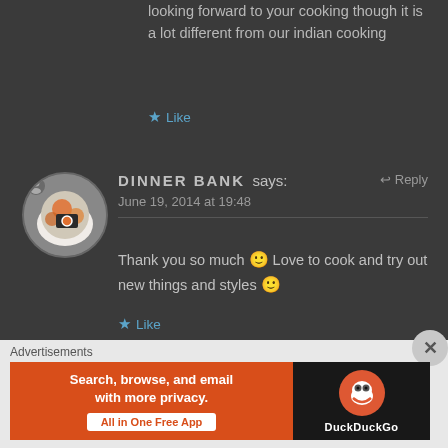looking forward to your cooking though it is a lot different from our indian cooking
★ Like
[Figure (photo): Circular avatar for Dinner Bank commenter showing food photography with orange circles and dark elements]
DINNER BANK says:  ↩ Reply
June 19, 2014 at 19:48
Thank you so much 🙂 Love to cook and try out new things and styles 🙂
★ Like
Advertisements
[Figure (screenshot): DuckDuckGo advertisement banner: 'Search, browse, and email with more privacy. All in One Free App' with DuckDuckGo logo on dark right panel]